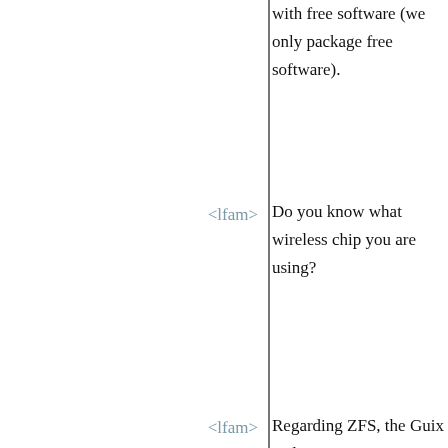with free software (we only package free software).
<lfam> Do you know what wireless chip you are using?
<lfam> Regarding ZFS, the Guix and GNU communities will need to decide if the license is compatible with the kernel. My impression is that the other distros simply don't care about these issues very much. But we do care, as a